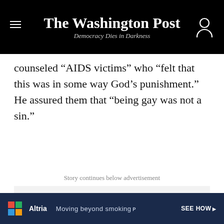The Washington Post — Democracy Dies in Darkness
counseled “AIDS victims” who “felt that this was in some way God’s punishment.” He assured them that “being gay was not a sin.”
Story continues below advertisement
[Figure (other): Advertisement banner for Altria: Moving beyond smoking, with SEE HOW button and rocket imagery on dark blue background]